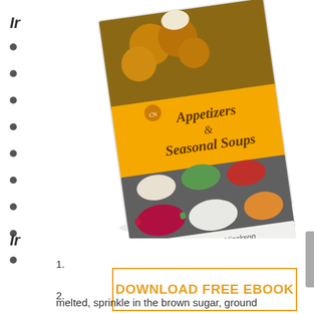Ir
[Figure (photo): A cookbook titled 'Appetizers & Seasonal Soups' by Chef Nigel T. Hinckson, showing fried appetizer balls on top and multiple colorful soup bowls below, with a yellow cover band]
•
•
•
•
•
•
•
•
•
Ir
1.
2.
3.
4.
5.
[Figure (other): Orange-bordered button with text DOWNLOAD FREE EBOOK]
melted, sprinkle in the brown sugar, ground